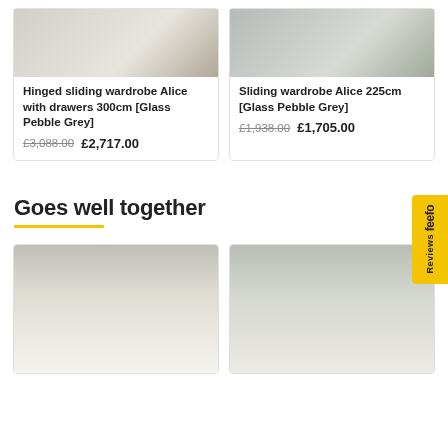[Figure (photo): Hinged sliding wardrobe Alice with drawers 300cm Glass Pebble Grey product image]
Hinged sliding wardrobe Alice with drawers 300cm [Glass Pebble Grey]
£3,088.00  £2,717.00
[Figure (photo): Sliding wardrobe Alice 225cm Glass Pebble Grey product image]
Sliding wardrobe Alice 225cm [Glass Pebble Grey]
£1,938.00  £1,705.00
Goes well together
[Figure (photo): Nightstand or bedside table product photo with lamp and plant]
[Figure (photo): Tall chest of drawers product photo next to bed with plant]